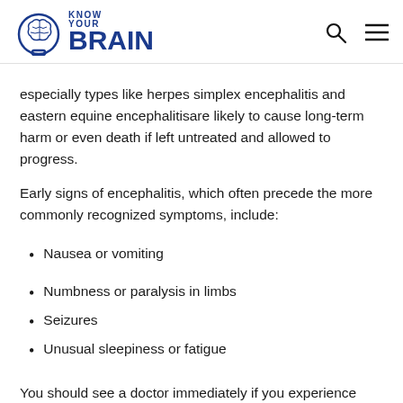KNOW YOUR BRAIN
especially types like herpes simplex encephalitis and eastern equine encephalitisare likely to cause long-term harm or even death if left untreated and allowed to progress.
Early signs of encephalitis, which often precede the more commonly recognized symptoms, include:
Nausea or vomiting
Numbness or paralysis in limbs
Seizures
Unusual sleepiness or fatigue
You should see a doctor immediately if you experience